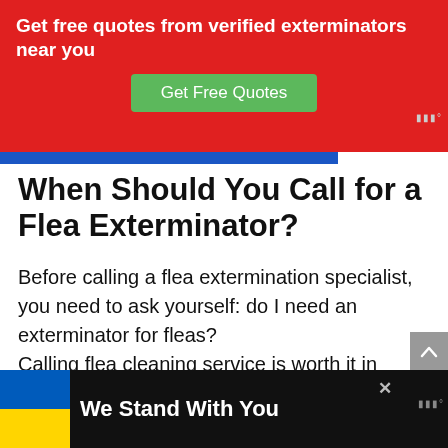[Figure (infographic): Red advertisement banner with white bold text reading 'Get free quotes from verified exterminators near you' and a green button labeled 'Get Free Quotes']
When Should You Call for a Flea Exterminator?
Before calling a flea extermination specialist, you need to ask yourself: do I need an exterminator for fleas?
Calling flea cleaning service is worth it in cases of a severe flea infestation.
[Figure (infographic): Bottom advertisement banner with black background, Ukrainian flag (blue and yellow), and white bold text 'We Stand With You']